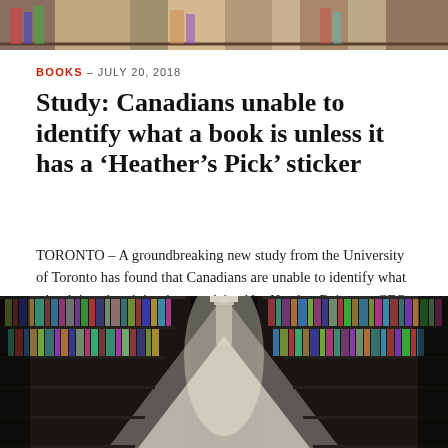[Figure (photo): Top portion of a library or bookstore image, partially visible at the top of the page]
BOOKS – JULY 20, 2018
Study: Canadians unable to identify what a book is unless it has a ‘Heather’s Pick’ sticker
TORONTO – A groundbreaking new study from the University of Toronto has found that Canadians are unable to identify what a book is unless it has been ordained by Heather Reisman, CEO of Ind...
SHARE
[Figure (photo): Library bookshelves corridor with two long rows of books on dark shelves extending to a bright vanishing point in the center]